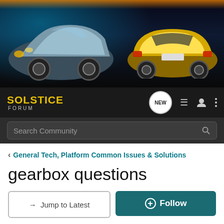[Figure (photo): Banner image of two Pontiac Solstice convertible sports cars on dark background with teal/cyan lighting. Silver car on left facing forward, yellow car on right showing rear view.]
SOLSTICE FORUM — NEW (icon) menu (icon) user (icon) more (icon)
Search Community
< General Tech, Platform Common Issues & Solutions
gearbox questions
→ Jump to Latest
+ Follow
1 - 9 of 9 Posts
jamiehjr · Registered
Joined Feb 12, 2004 · 7 Posts